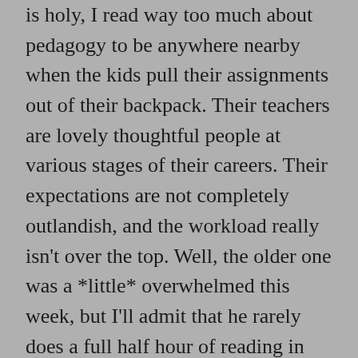is holy, I read way too much about pedagogy to be anywhere nearby when the kids pull their assignments out of their backpack. Their teachers are lovely thoughtful people at various stages of their careers. Their expectations are not completely outlandish, and the workload really isn't over the top. Well, the older one was a *little* overwhelmed this week, but I'll admit that he rarely does a full half hour of reading in French and it's not like he began his project early… and, there, I've already started.
I'm an American who speaks French for Heaven's sake. Worse, I'm an American who is qualified to teach English and French in